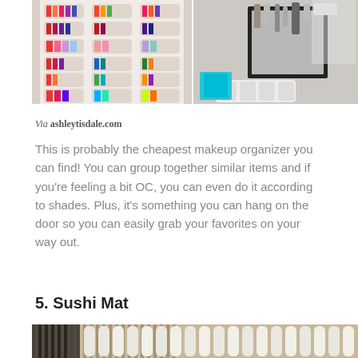[Figure (photo): Two side-by-side photos: left shows a hanging shoe organizer filled with colorful makeup/nail polish items; right shows a similar organizer on a door holding beauty tools and a mirror.]
Via ashleytisdale.com
This is probably the cheapest makeup organizer you can find! You can group together similar items and if you're feeling a bit OC, you can even do it according to shades. Plus, it's something you can hang on the door so you can easily grab your favorites on your way out.
5. Sushi Mat
[Figure (photo): Bottom portion of a photo showing a sushi mat with a dark brush/comb and rows of white cylindrical items arranged on it.]